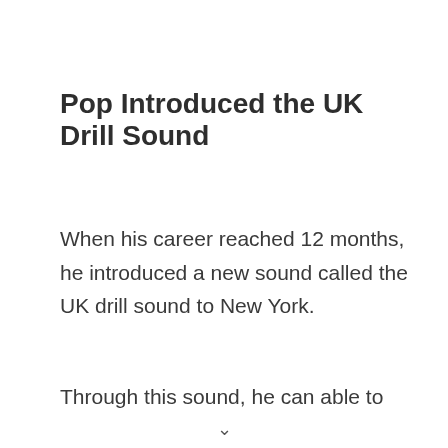Pop Introduced the UK Drill Sound
When his career reached 12 months, he introduced a new sound called the UK drill sound to New York.
Through this sound, he can able to